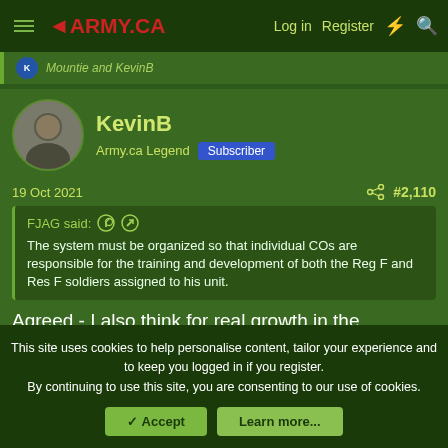4ARMY.CA  Log in  Register
Mountie and KevinB
KevinB
Army.ca Legend  Subscriber
19 Oct 2021  #2,110
FJAG said: The system must be organized so that individual COs are responsible for the training and development of both the Reg F and Res F soldiers assigned to his unit.
Agreed - I also think for real growth in the Reserves - there needs to be a path forward beyond the Platoon as it where.
This site uses cookies to help personalise content, tailor your experience and to keep you logged in if you register. By continuing to use this site, you are consenting to our use of cookies.